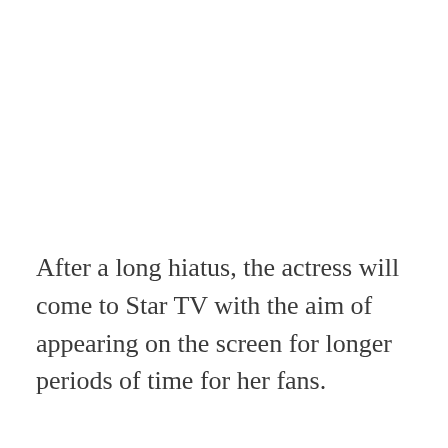After a long hiatus, the actress will come to Star TV with the aim of appearing on the screen for longer periods of time for her fans.